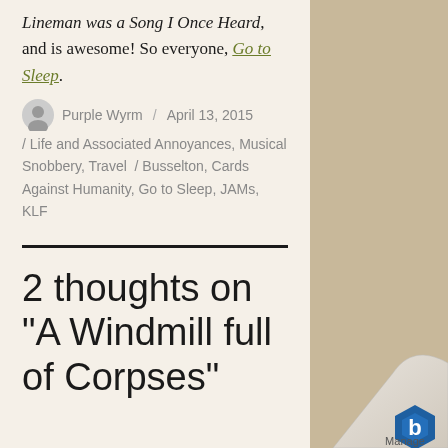Lineman was a Song I Once Heard, and is awesome! So everyone, Go to Sleep.
Purple Wyrm / April 13, 2015 / Life and Associated Annoyances, Musical Snobbery, Travel / Busselton, Cards Against Humanity, Go to Sleep, JAMs, KLF
2 thoughts on “A Windmill full of Corpses”